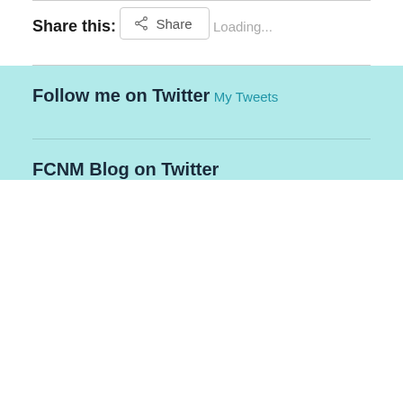Share this:
[Figure (other): Share button with share icon]
Loading...
Follow me on Twitter
My Tweets
FCNM Blog on Twitter